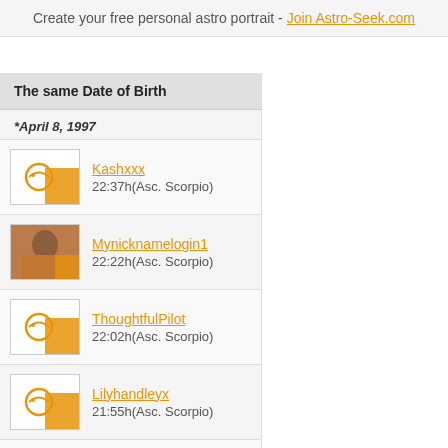Create your free personal astro portrait - Join Astro-Seek.com
The same Date of Birth
*April 8, 1997
Kashxxx
22:37h(Asc. Scorpio)
Mynicknamelogin1
22:22h(Asc. Scorpio)
ThoughtfulPilot
22:02h(Asc. Scorpio)
Lilyhandleyx
21:55h(Asc. Scorpio)
KaraReid1
19:32h(Asc. Libra)